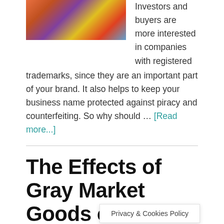[Figure (photo): Colorful product labels/stickers collage image]
Investors and buyers are more interested in companies with registered trademarks, since they are an important part of your brand. It also helps to keep your business name protected against piracy and counterfeiting. So why should … [Read more...]
The Effects of Gray Market Goods on the Distribution Network
July 13, 2022 By VegasPublicity
Privacy & Cookies Policy